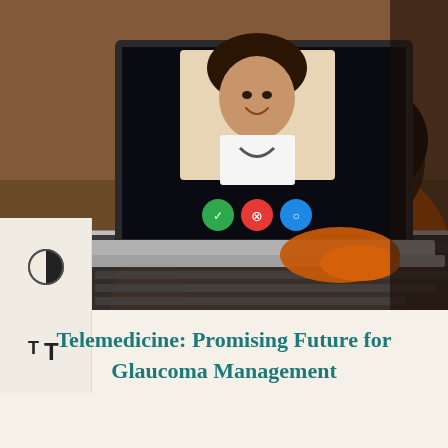[Figure (photo): A person in an orange sweater viewed from behind, using a laptop for a telemedicine video call with a smiling female doctor wearing a stethoscope. The laptop screen shows the doctor and video call control buttons (green, red, blue).]
Telemedicine: Promising Future for Glaucoma Management